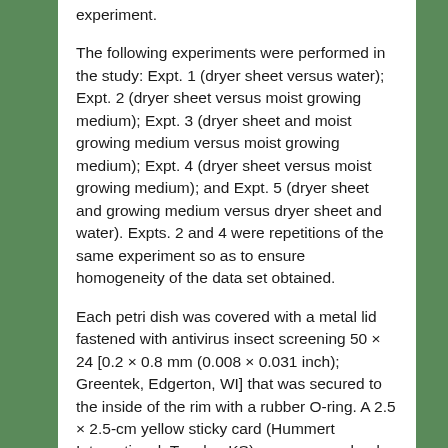experiment.
The following experiments were performed in the study: Expt. 1 (dryer sheet versus water); Expt. 2 (dryer sheet versus moist growing medium); Expt. 3 (dryer sheet and moist growing medium versus moist growing medium); Expt. 4 (dryer sheet versus moist growing medium); and Expt. 5 (dryer sheet and growing medium versus dryer sheet and water). Expts. 2 and 4 were repetitions of the same experiment so as to ensure homogeneity of the data set obtained.
Each petri dish was covered with a metal lid fastened with antivirus insect screening 50 × 24 [0.2 × 0.8 mm (0.008 × 0.031 inch); Greentek, Edgerton, WI] that was secured to the inside of the rim with a rubber O-ring. A 2.5 × 2.5-cm yellow sticky card (Hummert International, Topeka, KS) square was glued onto the inside portion of the insect screening. Then each covered petri dish was placed inside the sample compartment